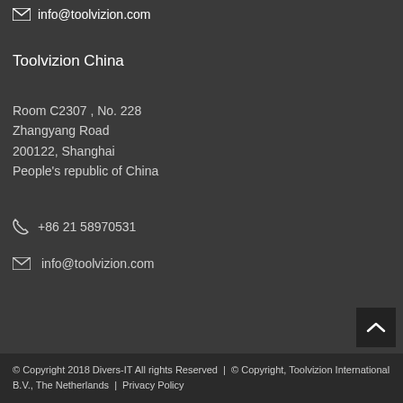✉ info@toolvizion.com
Toolvizion China
Room C2307 , No. 228
Zhangyang Road
200122, Shanghai
People's republic of China
☎ +86 21 58970531
✉ info@toolvizion.com
© Copyright 2018 Divers-IT All rights Reserved  |  © Copyright, Toolvizion International B.V., The Netherlands  |  Privacy Policy